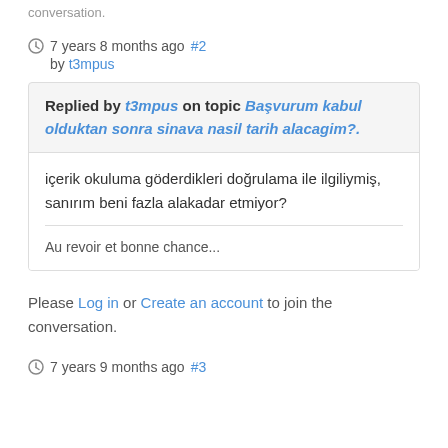conversation.
7 years 8 months ago #2
by t3mpus
Replied by t3mpus on topic Başvurum kabul olduktan sonra sinava nasil tarih alacagim?.
içerik okuluma göderdikleri doğrulama ile ilgiliymiş, sanırım beni fazla alakadar etmiyor?

Au revoir et bonne chance...
Please Log in or Create an account to join the conversation.
7 years 9 months ago #3